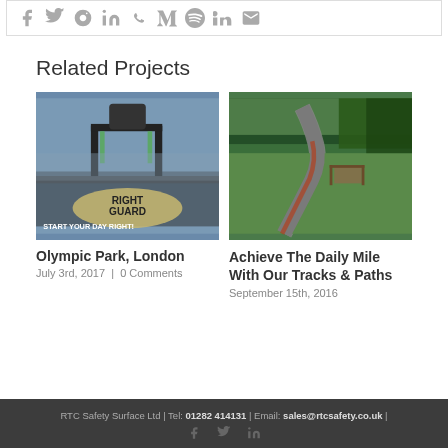[Figure (other): Social media share icons bar: facebook, twitter, reddit, linkedin, whatsapp, tumblr, pinterest, vk, xing, email]
Related Projects
[Figure (photo): Photo of Olympic Park London outdoor gym equipment with Right Guard branding on ground, text START YOUR DAY RIGHT]
Olympic Park, London
July 3rd, 2017  |  0 Comments
[Figure (photo): Photo of a winding path through green parkland with trees]
Achieve The Daily Mile With Our Tracks & Paths
September 15th, 2016
RTC Safety Surface Ltd | Tel: 01282 414131 | Email: sales@rtcsafety.co.uk |